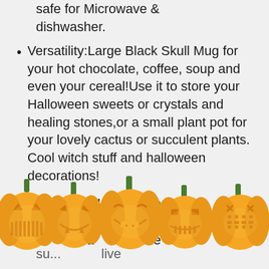safe for Microwave & dishwasher.
Versatility:Large Black Skull Mug for your hot chocolate, coffee, soup and even your cereal!Use it to store your Halloween sweets or crystals and healing stones,or a small plant pot for your lovely cactus or succulent plants. Cool witch stuff and halloween decorations!
Unique Gift Idea: We packed [of 2] [one] [su...] [...live]
[Figure (illustration): Row of five carved jack-o-lantern pumpkins with glowing faces, each with a green stem, arranged across the bottom of the page. Partially overlapping the text above.]